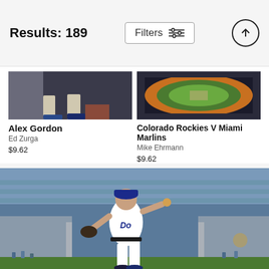Results: 189
Filters
[Figure (photo): Partial sports photo - Alex Gordon, baseball player feet/legs]
Alex Gordon
Ed Zurga
$9.62
[Figure (photo): Aerial view of Colorado Rockies V Miami Marlins baseball stadium]
Colorado Rockies V Miami Marlins
Mike Ehrmann
$9.62
[Figure (photo): LA Dodgers pitcher in white uniform winding up to throw a pitch at stadium]